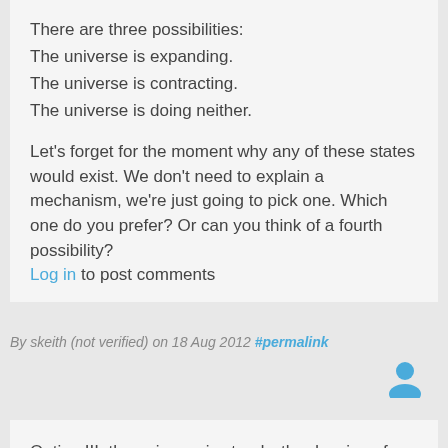There are three possibilities:
The universe is expanding.
The universe is contracting.
The universe is doing neither.
Let's forget for the moment why any of these states would exist. We don't need to explain a mechanism, we're just going to pick one. Which one do you prefer? Or can you think of a fourth possibility?
Log in to post comments
By skeith (not verified) on 18 Aug 2012 #permalink
Option III, the universe is steady, the drawing of my experiment proves that everything (Wave–particle duality) should start to go wrong with some weird exponential effects , even when an